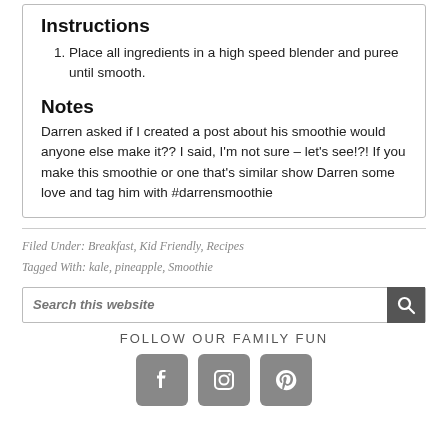Instructions
Place all ingredients in a high speed blender and puree until smooth.
Notes
Darren asked if I created a post about his smoothie would anyone else make it?? I said, I'm not sure – let's see!?! If you make this smoothie or one that's similar show Darren some love and tag him with #darrensmoothie
Filed Under: Breakfast, Kid Friendly, Recipes
Tagged With: kale, pineapple, Smoothie
Search this website
FOLLOW OUR FAMILY FUN
[Figure (infographic): Three social media icon buttons: Facebook (f), Instagram (camera), Pinterest (p) — grey rounded squares]